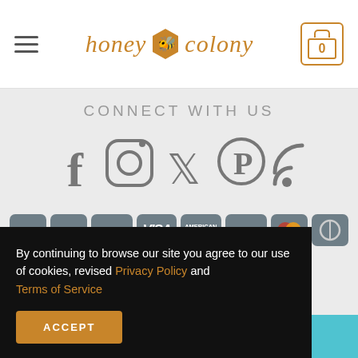honey colony | 0
CONNECT WITH US
[Figure (infographic): Social media icons: Facebook, Instagram, Twitter, Pinterest, RSS]
[Figure (infographic): Payment method icons: Apple Pay, Google Pay, PayPal, Visa, American Express, Discover, Mastercard, Diners Club, Bitcoin]
By continuing to browse our site you agree to our use of cookies, revised Privacy Policy and Terms of Service
ed upon the idual articles